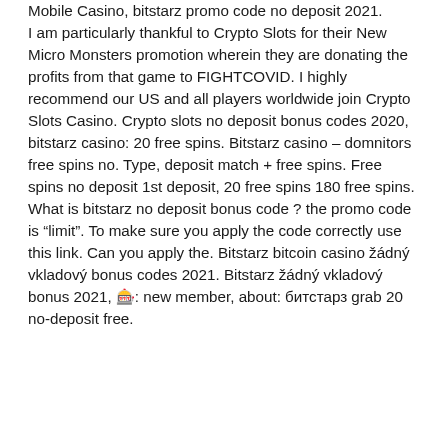Mobile Casino, bitstarz promo code no deposit 2021. I am particularly thankful to Crypto Slots for their New Micro Monsters promotion wherein they are donating the profits from that game to FIGHTCOVID. I highly recommend our US and all players worldwide join Crypto Slots Casino. Crypto slots no deposit bonus codes 2020, bitstarz casino: 20 free spins. Bitstarz casino – domnitors free spins no. Type, deposit match + free spins. Free spins no deposit 1st deposit, 20 free spins 180 free spins. What is bitstarz no deposit bonus code ? the promo code is "limit". To make sure you apply the code correctly use this link. Can you apply the. Bitstarz bitcoin casino žádný vkladový bonus codes 2021. Bitstarz žádný vkladový bonus 2021, 🎰: new member, about: битстарз grab 20 no-deposit free.